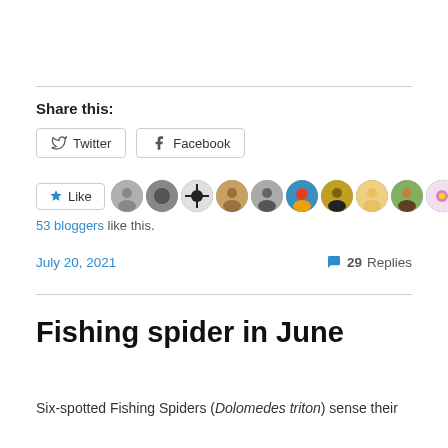Share this:
Twitter | Facebook
Like | [avatars] 53 bloggers like this.
July 20, 2021   29 Replies
Fishing spider in June
Six-spotted Fishing Spiders (Dolomedes triton) sense their